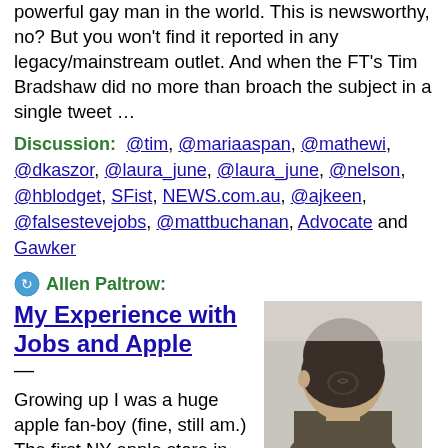powerful gay man in the world. This is newsworthy, no? But you won't find it reported in any legacy/mainstream outlet. And when the FT's Tim Bradshaw did no more than broach the subject in a single tweet …
Discussion: @tim, @mariaaspan, @mathewi, @dkaszor, @laura_june, @laura_june, @nelson, @hblodget, SFist, NEWS.com.au, @ajkeen, @falsestevejobs, @mattbuchanan, Advocate and Gawker
Allen Paltrow: My Experience with Jobs and Apple — Growing up I was a huge apple fan-boy (fine, still am.) The first NY apple store in Soho opening was probably the coolest thing that happened to me between the ages 6 and 12. For a while I would spend almost ever...
[Figure (photo): Back of a person's head showing dark hair styled in a bun or knot]